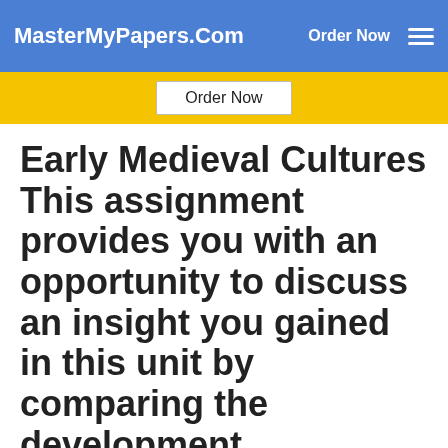MasterMyPapers.Com  Order Now
Order Now
Early Medieval Cultures This assignment provides you with an opportunity to discuss an insight you gained in this unit by comparing the development
History Writing Help D
Early Medieval Cultures
This assignment provides you with an opportunity to discuss an